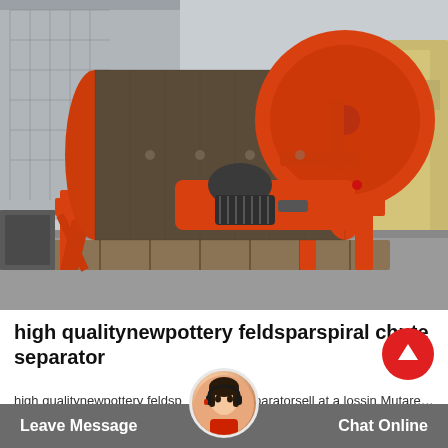[Figure (photo): Industrial magnetic separator / spiral chute separator machine with large orange cylindrical drum on orange metal frame, motor visible, photographed outdoors in industrial yard. Other yellow/orange equipment visible in background.]
high qualitynewpottery feldsparspiral chute separator
high qualitynewpottery feldsparspiral chute separatorsell at a lossin Mutare… Robertsport Liberia… Africahighqualitynewganguespiralchute separatorselllow price
Leave Message   Chat Online